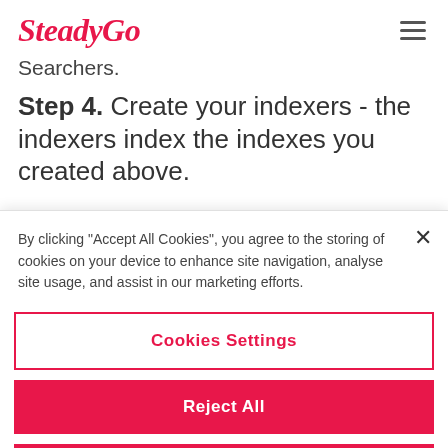SteadyGo
Searchers.
Step 4. Create your indexers - the indexers index the indexes you created above.
By clicking "Accept All Cookies", you agree to the storing of cookies on your device to enhance site navigation, analyse site usage, and assist in our marketing efforts.
Cookies Settings
Reject All
Accept All Cookies